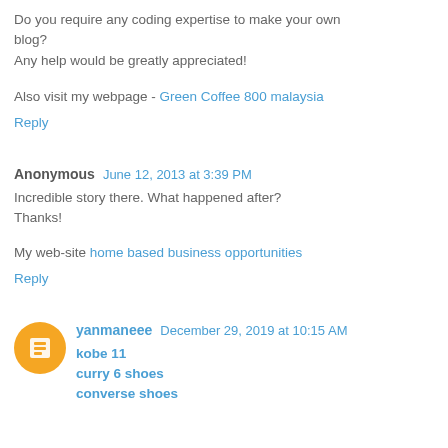Do you require any coding expertise to make your own blog?
Any help would be greatly appreciated!
Also visit my webpage - Green Coffee 800 malaysia
Reply
Anonymous  June 12, 2013 at 3:39 PM
Incredible story there. What happened after?
Thanks!
My web-site home based business opportunities
Reply
yanmaneee  December 29, 2019 at 10:15 AM
kobe 11
curry 6 shoes
converse shoes